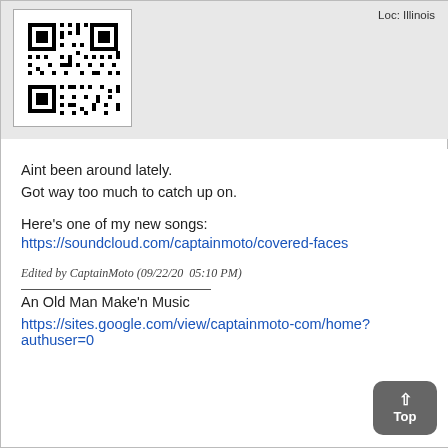[Figure (other): QR code image in white box with gray border in top-left header area]
Loc: Illinois
Aint been around lately.
Got way too much to catch up on.
Here's one of my new songs:
https://soundcloud.com/captainmoto/covered-faces
Edited by CaptainMoto (09/22/20  05:10 PM)
An Old Man Make'n Music
https://sites.google.com/view/captainmoto-com/home?authuser=0